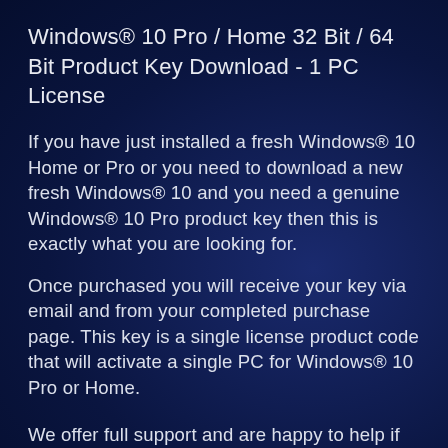Windows® 10 Pro / Home 32 Bit / 64 Bit Product Key Download - 1 PC License
If you have just installed a fresh Windows® 10 Home or Pro or you need to download a new fresh Windows® 10 and you need a genuine Windows® 10 Pro product key then this is exactly what you are looking for.
Once purchased you will receive your key via email and from your completed purchase page. This key is a single license product code that will activate a single PC for Windows® 10 Pro or Home.
We offer full support and are happy to help if you have any issues. Normally you will receive your license immediately but we will guarantee that it